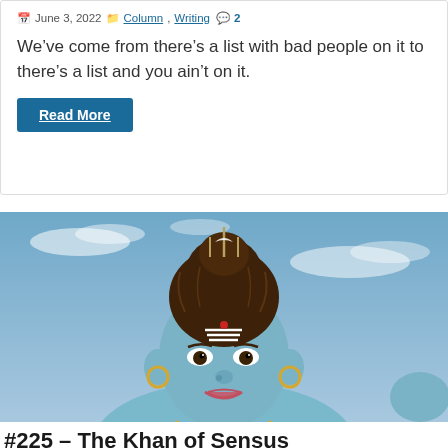June 3, 2022  Column, Writing  2
We’ve come from there’s a list with bad people on it to there’s a list and you ain’t on it.
Read More
[Figure (photo): Large statue of the Hindu deity Shiva (blue-skinned, with elaborate headdress, earrings, and garland) photographed from below against a partly cloudy blue sky.]
#225 – The Khan of Sensus